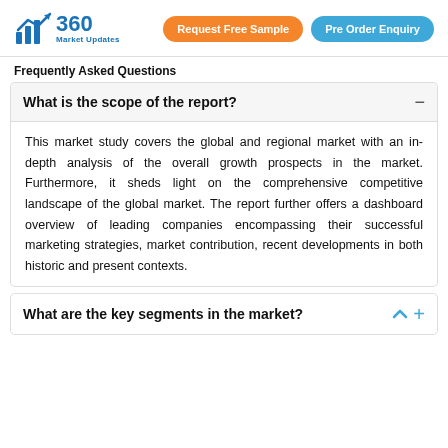360 Market Updates | Request Free Sample | Pre Order Enquiry
Frequently Asked Questions
What is the scope of the report?
This market study covers the global and regional market with an in-depth analysis of the overall growth prospects in the market. Furthermore, it sheds light on the comprehensive competitive landscape of the global market. The report further offers a dashboard overview of leading companies encompassing their successful marketing strategies, market contribution, recent developments in both historic and present contexts.
What are the key segments in the market?